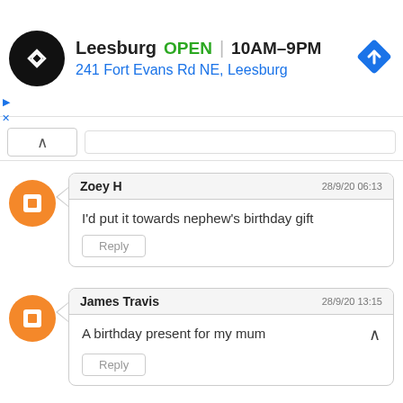[Figure (other): Ad banner for a store location: Blogger-like logo, 'Leesburg OPEN | 10AM-9PM', '241 Fort Evans Rd NE, Leesburg', navigation icon]
Zoey H
28/9/20 06:13
I'd put it towards nephew's birthday gift
Reply
James Travis
28/9/20 13:15
A birthday present for my mum
Reply